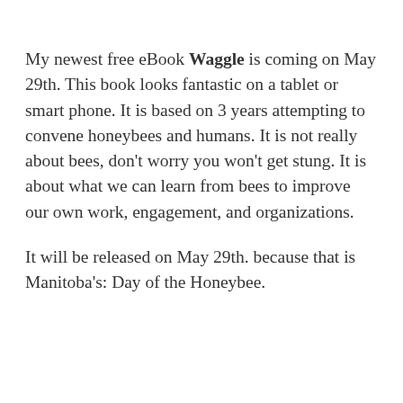My newest free eBook Waggle is coming on May 29th. This book looks fantastic on a tablet or smart phone. It is based on 3 years attempting to convene honeybees and humans. It is not really about bees, don't worry you won't get stung. It is about what we can learn from bees to improve our own work, engagement, and organizations.
It will be released on May 29th. because that is Manitoba's: Day of the Honeybee.